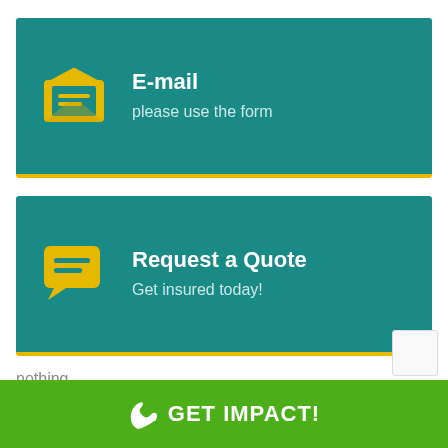[Figure (infographic): Teal card with yellow envelope icon, title E-mail and subtitle please use the form]
[Figure (infographic): Teal card with yellow speech bubble icon, title Request a Quote and subtitle Get insured today!]
nothing
GET IMPACT!